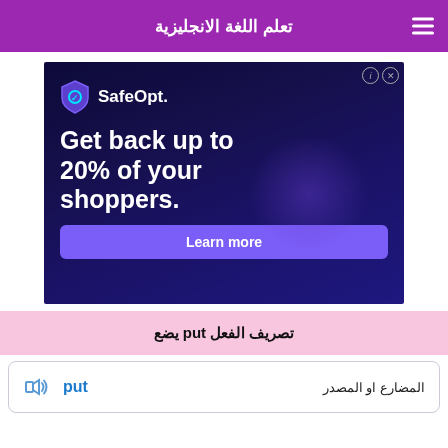تعلم اللغة الانجليزية
[Figure (screenshot): SafeOpt advertisement: dark navy blue background with SafeOpt shield logo, text 'Get back up to 20% of your shoppers.' and a purple 'Learn more' button]
تصريف الفعل put يضع
المضارع او المصدر   put